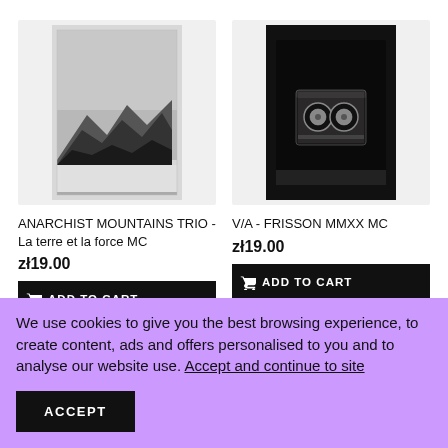[Figure (photo): Black and white photograph of mountain peaks on a cassette tape cover, left product]
ANARCHIST MOUNTAINS TRIO - La terre et la force MC
zł19.00
ADD TO CART
[Figure (photo): Black cassette tape on dark background, right product]
V/A - FRISSON MMXX MC
zł19.00
ADD TO CART
We use cookies to give you the best browsing experience, to create content, ads and offers personalised to you and to analyse our website use. Accept and continue to site
ACCEPT